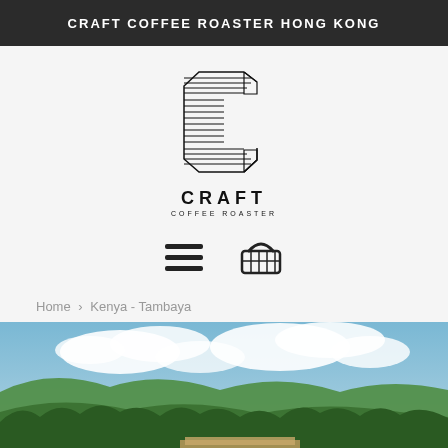CRAFT COFFEE ROASTER HONG KONG
[Figure (logo): Craft Coffee Roaster logo: geometric letter C made of horizontal lines, with text CRAFT COFFEE ROASTER below]
[Figure (infographic): Navigation icons: hamburger menu icon and shopping basket icon]
Home › Kenya - Tambaya
[Figure (photo): Outdoor landscape photo of a Kenyan coffee farm with green hills, trees, blue sky with clouds, and people working on what appears to be drying beds or a construction area in the foreground]